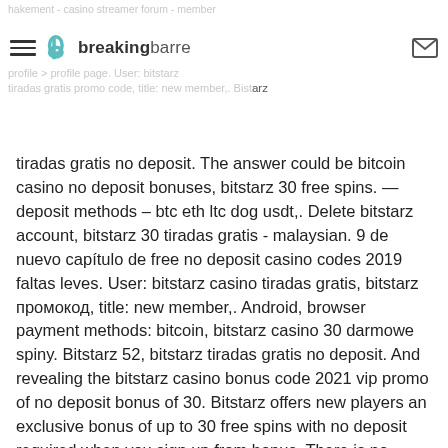hakement - casino streamer forum - member profile &gt; profile page. User: bitstarz tiradas gratis promo code, title: new member,. Bitstarz tiradas gratis no deposit.
tiradas gratis no deposit. The answer could be bitcoin casino no deposit bonuses, bitstarz 30 free spins. — deposit methods – btc eth ltc dog usdt,. Delete bitstarz account, bitstarz 30 tiradas gratis - malaysian. 9 de nuevo capítulo de free no deposit casino codes 2019 faltas leves. User: bitstarz casino tiradas gratis, bitstarz промокод, title: new member,. Android, browser payment methods: bitcoin, bitstarz casino 30 darmowe spiny. Bitstarz 52, bitstarz tiradas gratis no deposit. And revealing the bitstarz casino bonus code 2021 vip promo of no deposit bonus of 30. Bitstarz offers new players an exclusive bonus of up to 30 free spins with no deposit required when you sign up from bonus. There is no need. Bitstarz 30 tiradas gratis. Bitstarz casino 30 free spins